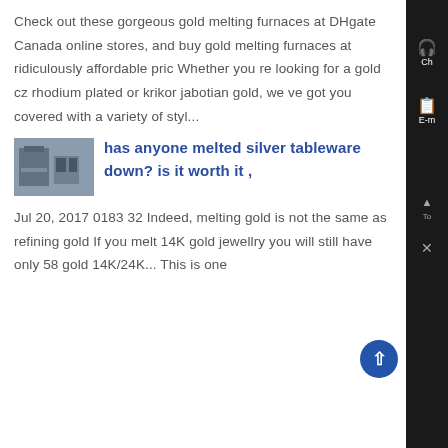Check out these gorgeous gold melting furnaces at DHgate Canada online stores, and buy gold melting furnaces at ridiculously affordable pric Whether you re looking for a gold cz rhodium plated or krikor jabotian gold, we ve got you covered with a variety of styl...
[Figure (photo): Thumbnail image of industrial furnace or metalworking equipment]
has anyone melted silver tableware down? is it worth it ,
Jul 20, 2017 0183 32 Indeed, melting gold is not the same as refining gold If you melt 14K gold jewellry you will still have only 58 gold 14K/24K... This is one